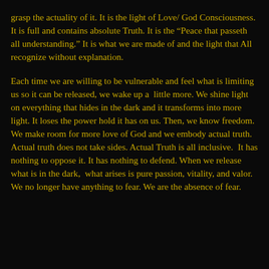grasp the actuality of it. It is the light of Love/ God Consciousness. It is full and contains absolute Truth. It is the “Peace that passeth all understanding.” It is what we are made of and the light that All recognize without explanation.
Each time we are willing to be vulnerable and feel what is limiting us so it can be released, we wake up a  little more. We shine light on everything that hides in the dark and it transforms into more light. It loses the power hold it has on us. Then, we know freedom. We make room for more love of God and we embody actual truth. Actual truth does not take sides. Actual Truth is all inclusive.  It has nothing to oppose it. It has nothing to defend. When we release what is in the dark,  what arises is pure passion, vitality, and valor. We no longer have anything to fear. We are the absence of fear.